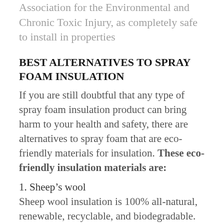Association for the Environmental and Chronic Toxic Injury, as completely safe to install in properties
BEST ALTERNATIVES TO SPRAY FOAM INSULATION
If you are still doubtful that any type of spray foam insulation product can bring harm to your health and safety, there are alternatives to spray foam that are eco-friendly materials for insulation. These eco-friendly insulation materials are:
1. Sheep’s wool
Sheep wool insulation is 100% all-natural, renewable, recyclable, and biodegradable. This insulation material comes from sheared excess wool from sheep. The wool is then treated